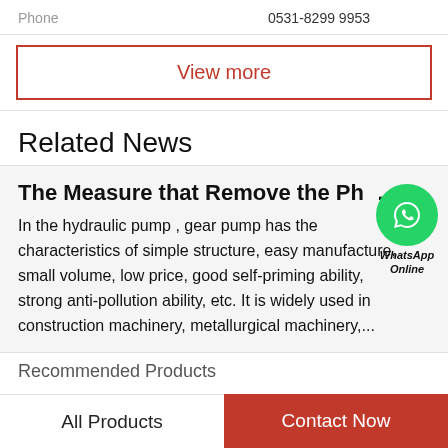Phone   0531-8299 9953
View more
Related News
The Measure that Remove the Phe...n...
In the hydraulic pump , gear pump has the characteristics of simple structure, easy manufacture, small volume, low price, good self-priming ability, strong anti-pollution ability, etc. It is widely used in construction machinery, metallurgical machinery,...
[Figure (illustration): WhatsApp Online green circular icon with phone handset, labeled WhatsApp Online]
Recommended Products
All Products
Contact Now